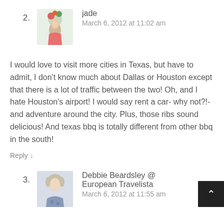2. jade
March 6, 2012 at 11:02 am
I would love to visit more cities in Texas, but have to admit, I don't know much about Dallas or Houston except that there is a lot of traffic between the two! Oh, and I hate Houston's airport! I would say rent a car- why not?!- and adventure around the city. Plus, those ribs sound delicious! And texas bbq is totally different from other bbq in the south!
Reply ↓
3. Debbie Beardsley @ European Travelista
March 6, 2012 at 11:55 am